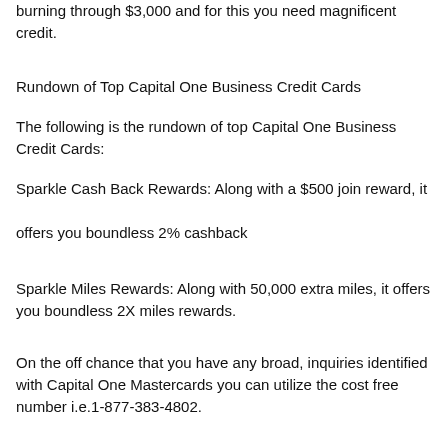burning through $3,000 and for this you need magnificent credit.
Rundown of Top Capital One Business Credit Cards
The following is the rundown of top Capital One Business Credit Cards:
Sparkle Cash Back Rewards: Along with a $500 join reward, it offers you boundless 2% cashback
Sparkle Miles Rewards: Along with 50,000 extra miles, it offers you boundless 2X miles rewards.
On the off chance that you have any broad, inquiries identified with Capital One Mastercards you can utilize the cost free number i.e.1-877-383-4802.